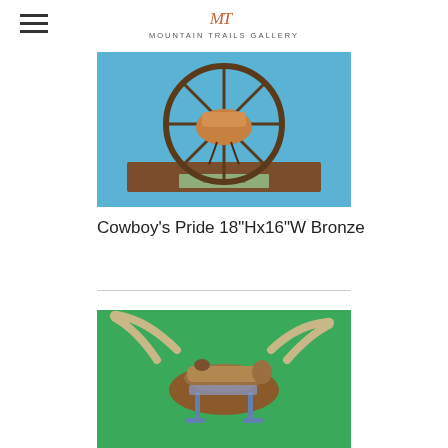Mountain Trails Gallery
[Figure (photo): Bronze sculpture titled Cowboy's Pride showing a saddle and wagon wheel on a wooden base with a plaque, against a blue background]
Cowboy's Pride 18"Hx16"W Bronze
[Figure (photo): Bronze sculpture of a longhorn with a saddle on its back, against a green background]